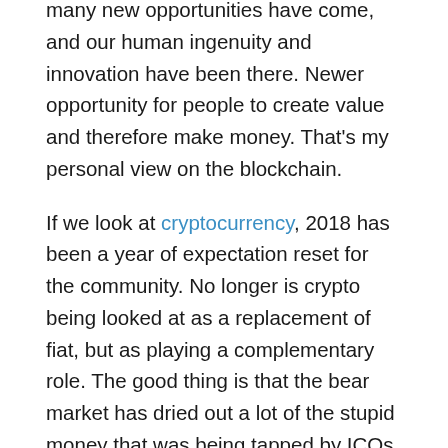many new opportunities have come, and our human ingenuity and innovation have been there. Newer opportunity for people to create value and therefore make money. That's my personal view on the blockchain.
If we look at cryptocurrency, 2018 has been a year of expectation reset for the community. No longer is crypto being looked at as a replacement of fiat, but as playing a complementary role. The good thing is that the bear market has dried out a lot of the stupid money that was being tapped by ICOs, many of which were nothing more than pipe dreams. The good solid projects have a lot of work happening behind the scenes, and 2019 should throw up some real-world use cases that will see better adoption. There are projects out there which enable you to convert any crypto to any other crypto in real-time and on-the-fly, so if you're trying to make a payment using Ethereum but the merchant accepts only Bitcoin, that